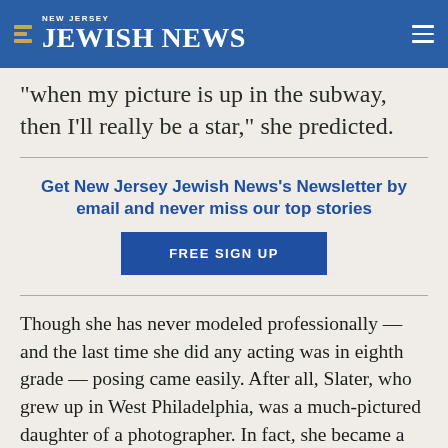NEW JERSEY JEWISH NEWS
“when my picture is up in the subway, then I’ll really be a star,” she predicted.
Get New Jersey Jewish News’s Newsletter by email and never miss our top stories
FREE SIGN UP
Though she has never modeled professionally — and the last time she did any acting was in eighth grade — posing came easily. After all, Slater, who grew up in West Philadelphia, was a much-pictured daughter of a photographer. In fact, she became a photographer herself when she grew up, at least